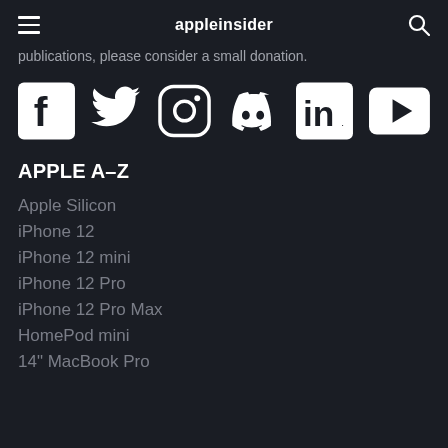appleinsider
publications, please consider a small donation.
[Figure (other): Row of social media icons: Facebook, Twitter, Instagram, Discord, LinkedIn, YouTube]
APPLE A-Z
Apple Silicon
iPhone 12
iPhone 12 mini
iPhone 12 Pro
iPhone 12 Pro Max
HomePod mini
14" MacBook Pro